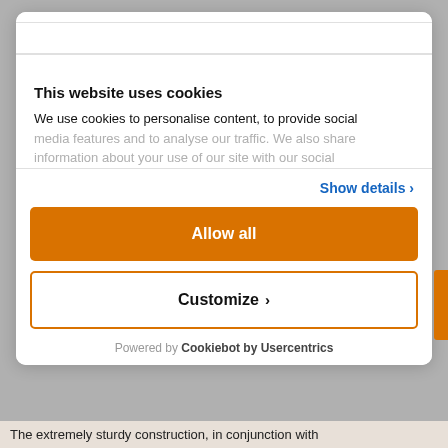This website uses cookies
We use cookies to personalise content, to provide social media features and to analyse our traffic. We also share information about your use of our site with our social
Show details ›
Allow all
Customize ›
Powered by Cookiebot by Usercentrics
The extremely sturdy construction, in conjunction with